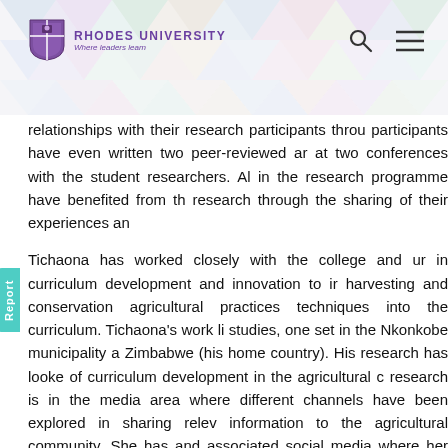RHODES UNIVERSITY Where leaders learn
relationships with their research participants throu participants have even written two peer-reviewed ar at two conferences with the student researchers. Al in the research programme have benefited from th research through the sharing of their experiences an
Tichaona has worked closely with the college and ur in curriculum development and innovation to ir harvesting and conservation agricultural practices techniques into the curriculum. Tichaona's work li studies, one set in the Nkonkobe municipality a Zimbabwe (his home country). His research has looke of curriculum development in the agricultural c research is in the media area where different channels have been explored in sharing relev information to the agricultural community. She has and associated social media where her research p